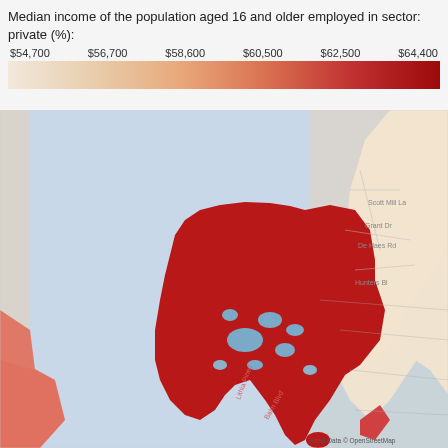Median income of the population aged 16 and older employed in sector: private (%):
[Figure (map): Choropleth map showing median income of the population aged 16 and older employed in private sector. Legend ranges from $54,700 (light cream) to $64,400 (dark red). The map shows a geographic area with a large dark red region in the center-south (highest income ~$64,400), a lighter cream/beige region in the upper center (lower income ~$54,700-$56,700), surrounding blue water areas, and smaller regions in salmon/pink on the left edge. Road data attributed to OpenStreetMap.]